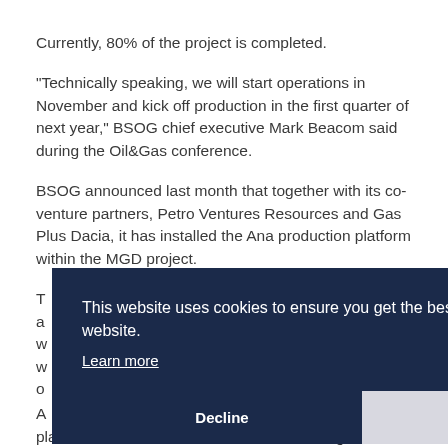Currently, 80% of the project is completed.
"Technically speaking, we will start operations in November and kick off production in the first quarter of next year," BSOG chief executive Mark Beacom said during the Oil&Gas conference.
BSOG announced last month that together with its co-venture partners, Petro Ventures Resources and Gas Plus Dacia, it has installed the Ana production platform within the MGD project.
T[partially obscured]... a[partially obscured]... w[partially obscured]... w[partially obscured]... o[partially obscured]...
[Figure (screenshot): Cookie consent banner overlay with dark navy background reading 'This website uses cookies to ensure you get the best experience on our website.' with a 'Learn more' link and two buttons: 'Decline' and 'Allow cookies']
A[partially obscured]... platform to the shore and to a new onshore gas